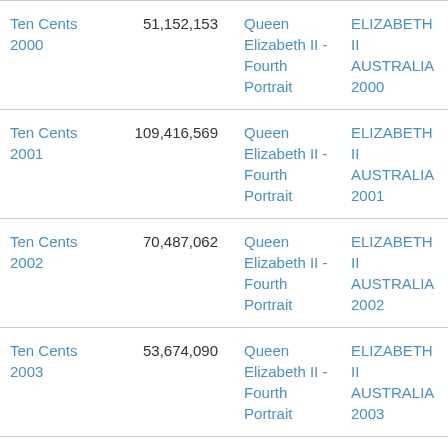| Ten Cents 2000 | 51,152,153 | Queen Elizabeth II - Fourth Portrait | ELIZABETH II AUSTRALIA 2000 |
| Ten Cents 2001 | 109,416,569 | Queen Elizabeth II - Fourth Portrait | ELIZABETH II AUSTRALIA 2001 |
| Ten Cents 2002 | 70,487,062 | Queen Elizabeth II - Fourth Portrait | ELIZABETH II AUSTRALIA 2002 |
| Ten Cents 2003 | 53,674,090 | Queen Elizabeth II - Fourth Portrait | ELIZABETH II AUSTRALIA 2003 |
| Ten Cents 2004 | 89,050,000 | Queen Elizabeth II - Fourth Portrait | ELIZABETH II AUSTRALIA |